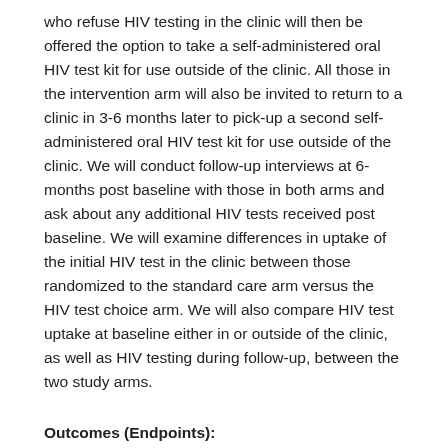who refuse HIV testing in the clinic will then be offered the option to take a self-administered oral HIV test kit for use outside of the clinic. All those in the intervention arm will also be invited to return to a clinic in 3-6 months later to pick-up a second self-administered oral HIV test kit for use outside of the clinic. We will conduct follow-up interviews at 6-months post baseline with those in both arms and ask about any additional HIV tests received post baseline. We will examine differences in uptake of the initial HIV test in the clinic between those randomized to the standard care arm versus the HIV test choice arm. We will also compare HIV test uptake at baseline either in or outside of the clinic, as well as HIV testing during follow-up, between the two study arms.
Outcomes (Endpoints):
The primary outcome of this study is uptake of HIV testing by truck drivers in the clinic. We will examine differences in uptake of the initial HIV test in the clinic between those randomized to the standard care arm versus the HIV test choice arm. We will also compare HIV test uptake at baseline either in or outside of the clinic, as well as HIV testing during follow-up, between the two study arms.